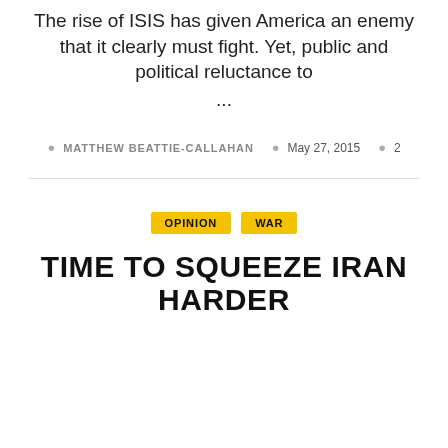The rise of ISIS has given America an enemy that it clearly must fight. Yet, public and political reluctance to ...
MATTHEW BEATTIE-CALLAHAN   May 27, 2015   2
OPINION   WAR
TIME TO SQUEEZE IRAN HARDER